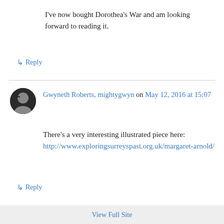I've now bought Dorothea's War and am looking forward to reading it.
↳ Reply
Gwyneth Roberts, mightygwyn on May 12, 2016 at 15:07
There's a very interesting illustrated piece here: http://www.exploringsurreyspast.org.uk/margaret-arnold/
↳ Reply
View Full Site